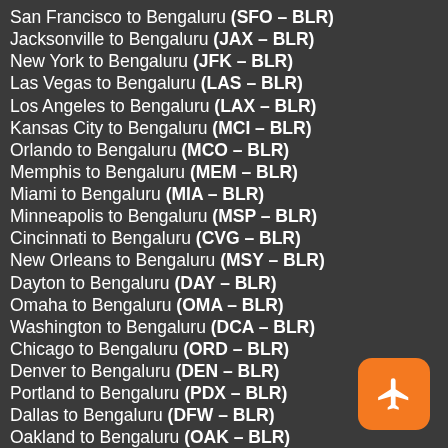San Francisco to Bengaluru (SFO – BLR)
Jacksonville to Bengaluru (JAX – BLR)
New York to Bengaluru (JFK – BLR)
Las Vegas to Bengaluru (LAS – BLR)
Los Angeles to Bengaluru (LAX – BLR)
Kansas City to Bengaluru (MCI – BLR)
Orlando to Bengaluru (MCO – BLR)
Memphis to Bengaluru (MEM – BLR)
Miami to Bengaluru (MIA – BLR)
Minneapolis to Bengaluru (MSP – BLR)
Cincinnati to Bengaluru (CVG – BLR)
New Orleans to Bengaluru (MSY – BLR)
Dayton to Bengaluru (DAY – BLR)
Omaha to Bengaluru (OMA – BLR)
Washington to Bengaluru (DCA – BLR)
Chicago to Bengaluru (ORD – BLR)
Denver to Bengaluru (DEN – BLR)
Portland to Bengaluru (PDX – BLR)
Dallas to Bengaluru (DFW – BLR)
Oakland to Bengaluru (OAK – BLR)
Des Moines to Bengaluru (DSM – BLR)
Phoenix to Bengaluru (PHX – BLR)
Detroit to Bengaluru (DTW – BLR)